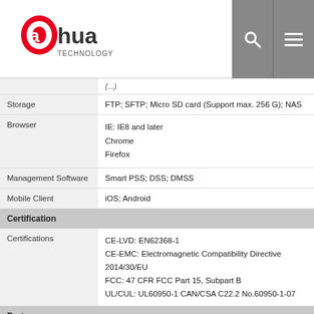Dahua Technology logo with search and menu icons
| Feature | Value |
| --- | --- |
| Storage | FTP; SFTP; Micro SD card (Support max. 256 G); NAS |
| Browser | IE: IE8 and later
Chrome
Firefox |
| Management Software | Smart PSS; DSS; DMSS |
| Mobile Client | iOS; Android |
| Certification |  |
| Certifications | CE-LVD: EN62368-1
CE-EMC: Electromagnetic Compatibility Directive 2014/30/EU
FCC: 47 CFR FCC Part 15, Subpart B
UL/CUL: UL60950-1 CAN/CSA C22.2 No.60950-1-07 |
| Port |  |
| Audio Input | 1 channel (RCA port) |
| Audio Output | 1 channel (RCA port) |
| Alarm Input | 1 channel in: 5mA 3V–5 VDC |